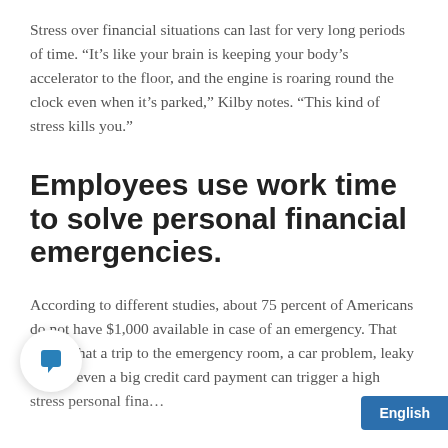Stress over financial situations can last for very long periods of time. “It’s like your brain is keeping your body’s accelerator to the floor, and the engine is roaring round the clock even when it’s parked,” Kilby notes. “This kind of stress kills you.”
Employees use work time to solve personal financial emergencies.
According to different studies, about 75 percent of Americans do not have $1,000 available in case of an emergency. That means that a trip to the emergency room, a car problem, leaky roof or even a big credit card payment can trigger a high stress personal fina…